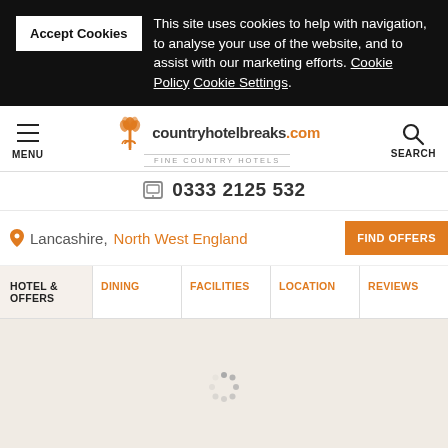Accept Cookies — This site uses cookies to help with navigation, to analyse your use of the website, and to assist with our marketing efforts. Cookie Policy Cookie Settings.
[Figure (logo): countryhotelbreaks.com logo with orange tulip icon and tagline FINE COUNTRY HOTELS]
0333 2125 532
Lancashire, North West England
FIND OFFERS
HOTEL & OFFERS | DINING | FACILITIES | LOCATION | REVIEWS
[Figure (other): Loading spinner]